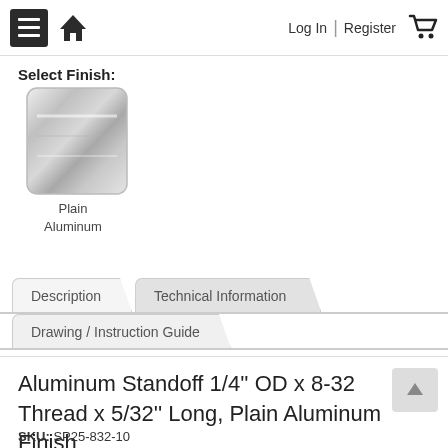Log In | Register
Select Finish:
[Figure (illustration): Plain Aluminum finish swatch — metallic silver square thumbnail with rounded corners]
Plain Aluminum
Description | Technical Information | Drawing / Instruction Guide (tabs)
Aluminum Standoff 1/4'' OD x 8-32 Thread x 5/32'' Long, Plain Aluminum Finish
SKU: SP25-832-10